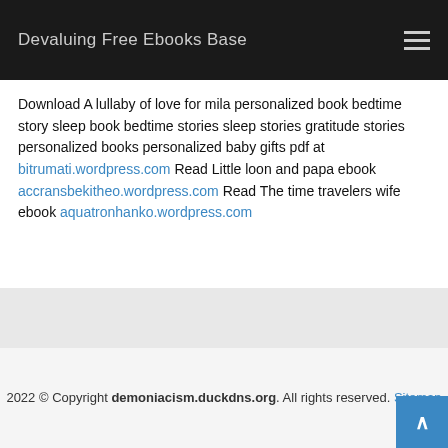Devaluing Free Ebooks Base
Download A lullaby of love for mila personalized book bedtime story sleep book bedtime stories sleep stories gratitude stories personalized books personalized baby gifts pdf at bitrumati.wordpress.com Read Little loon and papa ebook accransbekitheo.wordpress.com Read The time travelers wife ebook aquatronhanko.wordpress.com
2022 © Copyright demoniacism.duckdns.org. All rights reserved. Sitemap